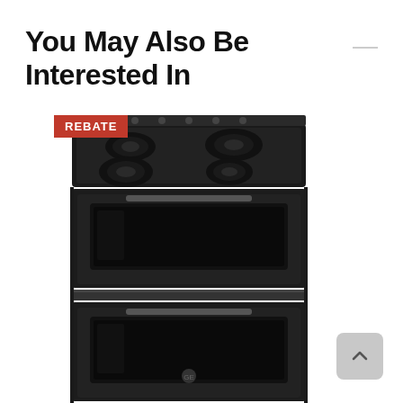You May Also Be Interested In
[Figure (photo): Black GE Profile 30-inch smart electric double oven range with glass cooktop, shown in dark stainless steel finish. A red 'REBATE' badge is overlaid in the top-left corner of the product image.]
GE Profile™ 30" Smart...
Our Price
$2,099.96
*Monthly...